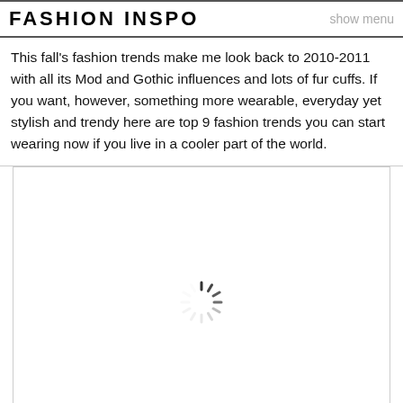FASHION INSPO
This fall's fashion trends make me look back to 2010-2011 with all its Mod and Gothic influences and lots of fur cuffs. If you want, however, something more wearable, everyday yet stylish and trendy here are top 9 fashion trends you can start wearing now if you live in a cooler part of the world.
[Figure (photo): Loading image placeholder with spinner icon]